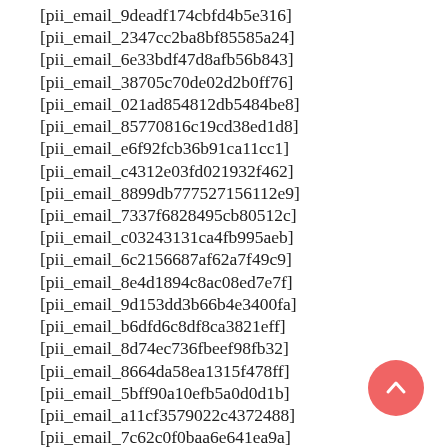[pii_email_9deadf174cbfd4b5e316]
[pii_email_2347cc2ba8bf85585a24]
[pii_email_6e33bdf47d8afb56b843]
[pii_email_38705c70de02d2b0ff76]
[pii_email_021ad854812db5484be8]
[pii_email_85770816c19cd38ed1d8]
[pii_email_e6f92fcb36b91ca11cc1]
[pii_email_c4312e03fd021932f462]
[pii_email_8899db777527156112e9]
[pii_email_7337f6828495cb80512c]
[pii_email_c03243131ca4fb995aeb]
[pii_email_6c2156687af62a7f49c9]
[pii_email_8e4d1894c8ac08ed7e7f]
[pii_email_9d153dd3b66b4e3400fa]
[pii_email_b6dfd6c8df8ca3821eff]
[pii_email_8d74ec736fbeef98fb32]
[pii_email_8664da58ea1315f478ff]
[pii_email_5bff90a10efb5a0d0d1b]
[pii_email_a11cf3579022c4372488]
[pii_email_7c62c0f0baa6e641ea9a]
[pii_email_...]